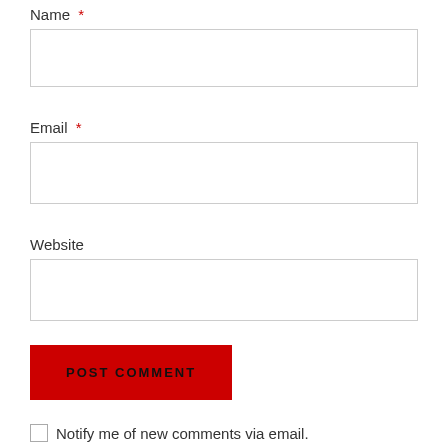Name *
[Figure (screenshot): Empty text input box for Name field]
Email *
[Figure (screenshot): Empty text input box for Email field]
Website
[Figure (screenshot): Empty text input box for Website field]
[Figure (screenshot): Red POST COMMENT button]
Notify me of new comments via email.